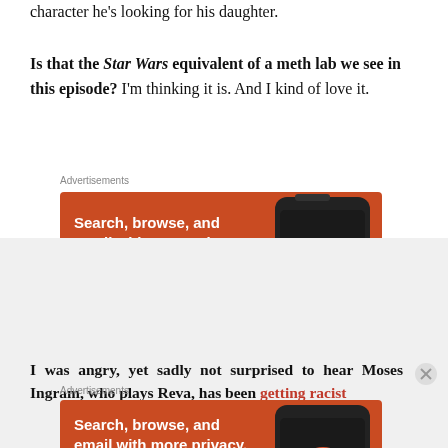character he's looking for his daughter.
Is that the Star Wars equivalent of a meth lab we see in this episode? I'm thinking it is. And I kind of love it.
[Figure (screenshot): DuckDuckGo advertisement banner: orange background with white text 'Search, browse, and email with more privacy.' and 'All in One Free App' button, with phone graphic showing DuckDuckGo logo]
I was angry, yet sadly not surprised to hear Moses Ingram, who plays Reva, has been getting racist
[Figure (screenshot): DuckDuckGo advertisement banner (second): orange background with white text 'Search, browse, and email with more privacy.' and 'All in One Free App' button, with phone graphic showing DuckDuckGo logo]